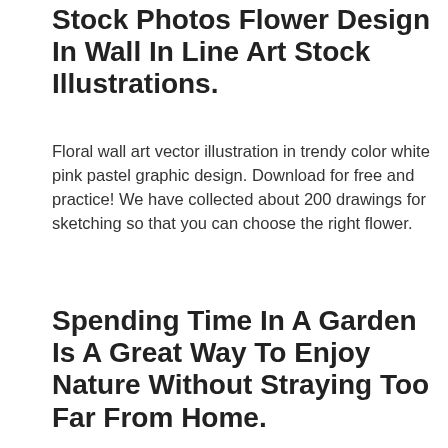Stock Photos Flower Design In Wall In Line Art Stock Illustrations.
Floral wall art vector illustration in trendy color white pink pastel graphic design. Download for free and practice! We have collected about 200 drawings for sketching so that you can choose the right flower.
Spending Time In A Garden Is A Great Way To Enjoy Nature Without Straying Too Far From Home.
I ended up doing a diy floral line drawing wall mural. Floral design flower decoration flowers pattern decorative background frame vintage. Select a floral design image to download for free.
Flower Tattoo Drawings:designs Small Delicate Minimalist Simple Tradicional Litle.